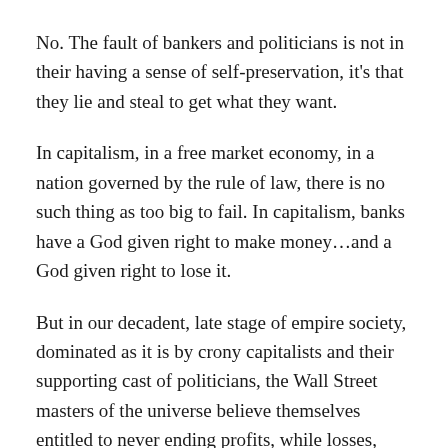No. The fault of bankers and politicians is not in their having a sense of self-preservation, it's that they lie and steal to get what they want.
In capitalism, in a free market economy, in a nation governed by the rule of law, there is no such thing as too big to fail. In capitalism, banks have a God given right to make money…and a God given right to lose it.
But in our decadent, late stage of empire society, dominated as it is by crony capitalists and their supporting cast of politicians, the Wall Street masters of the universe believe themselves entitled to never ending profits, while losses, well, those are for the little people to bear.
It is the opinion of this author that the intertwined political and financial systems of this country, rather than reflecting anything